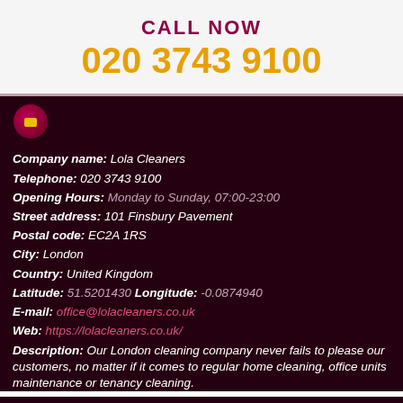CALL NOW
020 3743 9100
[Figure (logo): Lola Cleaners circular logo with yellow square element]
Company name: Lola Cleaners
Telephone: 020 3743 9100
Opening Hours: Monday to Sunday, 07:00-23:00
Street address: 101 Finsbury Pavement
Postal code: EC2A 1RS
City: London
Country: United Kingdom
Latitude: 51.5201430 Longitude: -0.0874940
E-mail: office@lolacleaners.co.uk
Web: https://lolacleaners.co.uk/
Description: Our London cleaning company never fails to please our customers, no matter if it comes to regular home cleaning, office units maintenance or tenancy cleaning.
Copyright © 2012 - 2021 Lola Cleaners. All Rights Reserved.